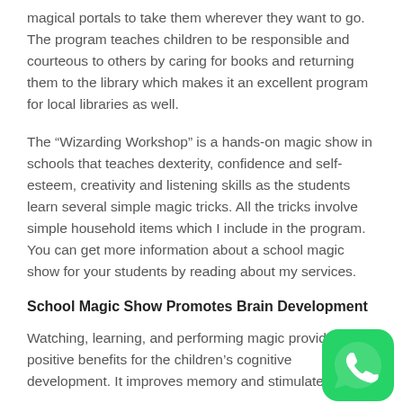magical portals to take them wherever they want to go. The program teaches children to be responsible and courteous to others by caring for books and returning them to the library which makes it an excellent program for local libraries as well.
The “Wizarding Workshop” is a hands-on magic show in schools that teaches dexterity, confidence and self-esteem, creativity and listening skills as the students learn several simple magic tricks. All the tricks involve simple household items which I include in the program. You can get more information about a school magic show for your students by reading about my services.
School Magic Show Promotes Brain Development
Watching, learning, and performing magic provides positive benefits for the children’s cognitive development. It improves memory and stimulates
[Figure (logo): WhatsApp logo icon, green circle with white phone handset]